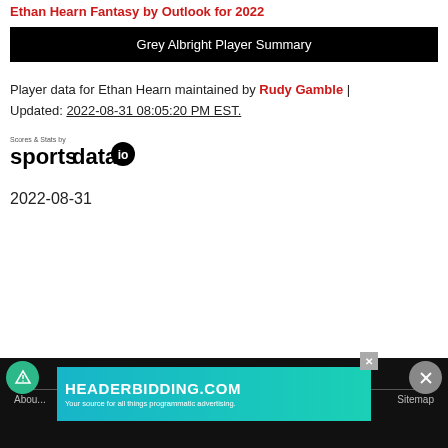Ethan Hearn Fantasy by Outlook for 2022
Grey Albright Player Summary
Player data for Ethan Hearn maintained by Rudy Gamble | Updated: 2022-08-31 08:05:20 PM EST.
[Figure (logo): Scores & Stats by sportsdata.io logo]
2022-08-31
MLB NFL NBA NHL SHOP About ... Sitemap